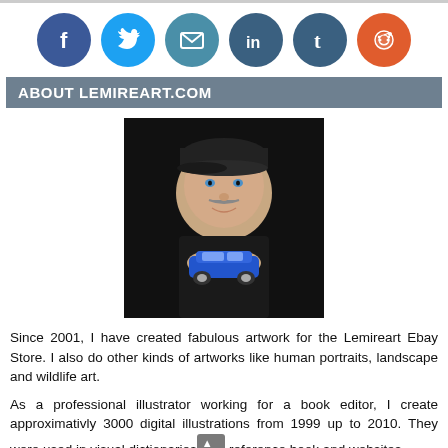[Figure (infographic): Social media icons row: Facebook (blue), Twitter (cyan), Email (teal), LinkedIn (dark teal), Tumblr (dark teal), Reddit (orange)]
ABOUT LEMIREART.COM
[Figure (photo): Portrait photo of a man wearing a dark cap and jacket, holding a small blue toy car, against a black background]
Since 2001, I have created fabulous artwork for the Lemireart Ebay Store. I also do other kinds of artworks like human portraits, landscape and wildlife art.
As a professional illustrator working for a book editor, I create approximativly 3000 digital illustrations from 1999 up to 2010. They were used in visual dictionaries and reference book and websites.